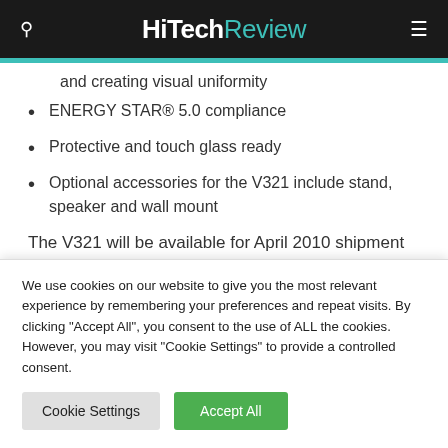HiTechReview
and creating visual uniformity
ENERGY STAR® 5.0 compliance
Protective and touch glass ready
Optional accessories for the V321 include stand, speaker and wall mount
The V321 will be available for April 2010 shipment at an estimated street price of $649. The displays ship with a 3-
We use cookies on our website to give you the most relevant experience by remembering your preferences and repeat visits. By clicking "Accept All", you consent to the use of ALL the cookies. However, you may visit "Cookie Settings" to provide a controlled consent.